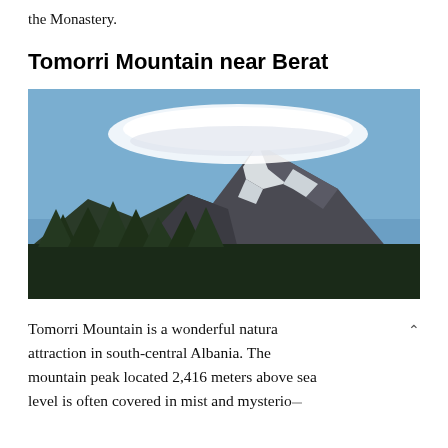the Monastery.
Tomorri Mountain near Berat
[Figure (photo): Photograph of Tomorri Mountain showing snow-capped peaks with a large lenticular cloud formation hovering above, surrounded by dark green trees in the foreground against a blue sky.]
Tomorri Mountain is a wonderful natural attraction in south-central Albania. The mountain peak located 2,416 meters above sea level is often covered in mist and mysterio…